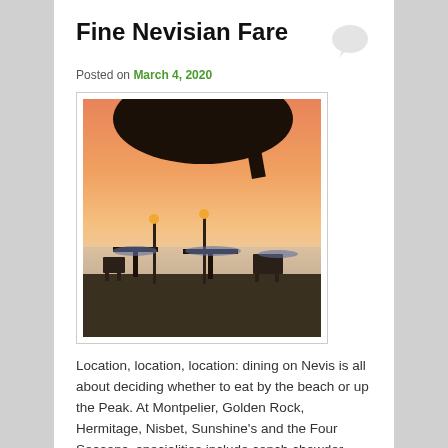Fine Nevisian Fare
Posted on March 4, 2020
[Figure (photo): Outdoor dining tables set near a beach at sunset, with torches lit, silhouetted trees overhead, and an orange sky over the water.]
Location, location, location: dining on Nevis is all about deciding whether to eat by the beach or up the Peak. At Montpelier, Golden Rock, Hermitage, Nisbet, Sunshine's and the Four Seasons, specialities include conch chowder, spiny lobster, red snapper, and for dessert, soursop ice cream.